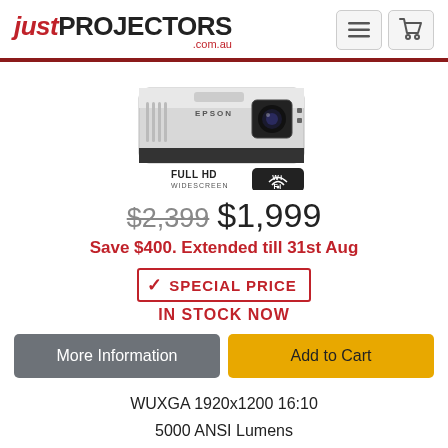just PROJECTORS .com.au
[Figure (photo): Epson projector with FULL HD WIDESCREEN Wi-Fi badges]
$2,399 $1,999
Save $400. Extended till 31st Aug
[Figure (infographic): Special Price badge with checkmark]
IN STOCK NOW
More Information | Add to Cart
WUXGA 1920x1200 16:10
5000 ANSI Lumens
15,000:1 Contrast